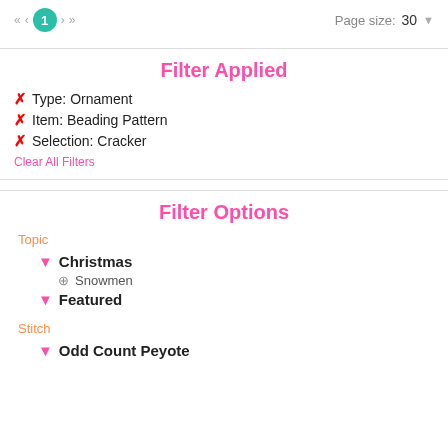« < 1 > »   Page size: 30
Filter Applied
✗ Type: Ornament
✗ Item: Beading Pattern
✗ Selection: Cracker
Clear All Filters
Filter Options
Topic
▼ Christmas
⊕ Snowmen
▼ Featured
Stitch
▼ Odd Count Peyote